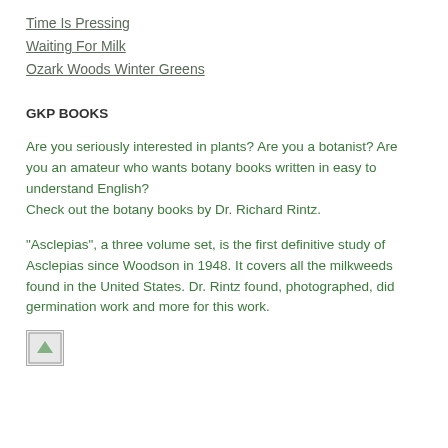Time Is Pressing
Waiting For Milk
Ozark Woods Winter Greens
GKP BOOKS
Are you seriously interested in plants? Are you a botanist? Are you an amateur who wants botany books written in easy to understand English?
Check out the botany books by Dr. Richard Rintz.
"Asclepias", a three volume set, is the first definitive study of Asclepias since Woodson in 1948. It covers all the milkweeds found in the United States. Dr. Rintz found, photographed, did germination work and more for this work.
[Figure (photo): Small broken/placeholder image icon]